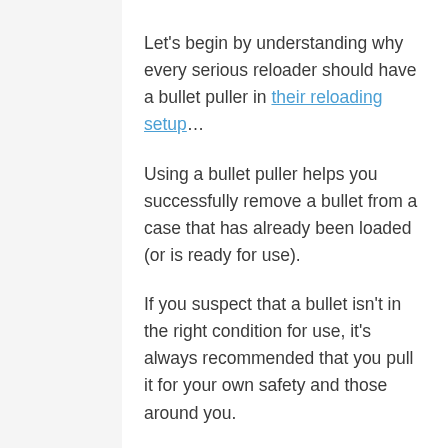Let's begin by understanding why every serious reloader should have a bullet puller in their reloading setup…
Using a bullet puller helps you successfully remove a bullet from a case that has already been loaded (or is ready for use).
If you suspect that a bullet isn't in the right condition for use, it's always recommended that you pull it for your own safety and those around you.
Some of the top reasons why you might want to pull the bullet include: